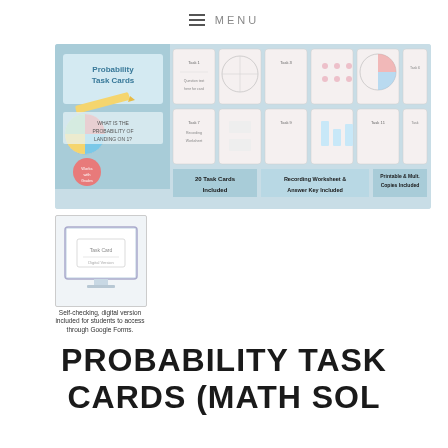≡ MENU
[Figure (photo): Product image of Probability Task Cards showing a wide banner with multiple task cards laid out, a title card on the left, and labels at the bottom reading '20 Task Cards Included', 'Recording Worksheet & Answer Key Included', 'Printable & Multiple Copies Included'.]
[Figure (screenshot): Thumbnail image of a digital version of the task card shown on a computer monitor screen.]
Self-checking, digital version included for students to access through Google Forms.
PROBABILITY TASK CARDS (MATH SOL